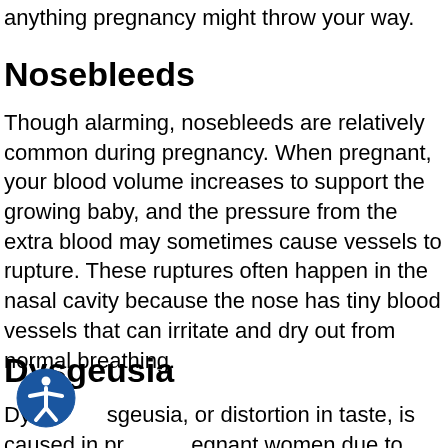anything pregnancy might throw your way.
Nosebleeds
Though alarming, nosebleeds are relatively common during pregnancy. When pregnant, your blood volume increases to support the growing baby, and the pressure from the extra blood may sometimes cause vessels to rupture. These ruptures often happen in the nasal cavity because the nose has tiny blood vessels that can irritate and dry out from normal breathing.
Dysgeusia
Dysgeusia, or distortion in taste, is caused in pregnant women due to hormone changes. Many